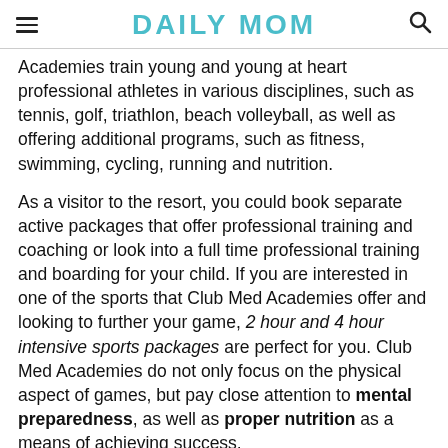DAILY MOM
Academies train young and young at heart professional athletes in various disciplines, such as tennis, golf, triathlon, beach volleyball, as well as offering additional programs, such as fitness, swimming, cycling, running and nutrition.
As a visitor to the resort, you could book separate active packages that offer professional training and coaching or look into a full time professional training and boarding for your child. If you are interested in one of the sports that Club Med Academies offer and looking to further your game, 2 hour and 4 hour intensive sports packages are perfect for you. Club Med Academies do not only focus on the physical aspect of games, but pay close attention to mental preparedness, as well as proper nutrition as a means of achieving success.